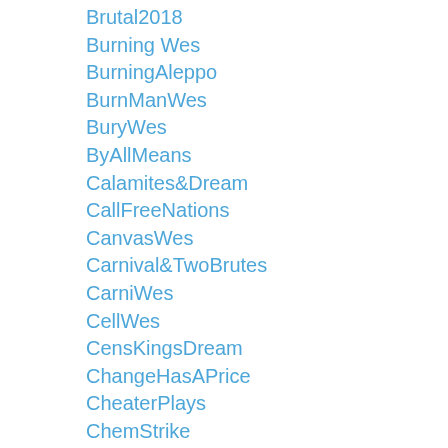Brutal2018
Burning Wes
BurningAleppo
BurnManWes
BuryWes
ByAllMeans
Calamites&Dream
CallFreeNations
CanvasWes
Carnival&TwoBrutes
CarniWes
CellWes
CensKingsDream
ChangeHasAPrice
CheaterPlays
ChemStrike
ChoicesWeMake
ChoosenPath
Climate'sNoCommodity
ClimateCan'tWait